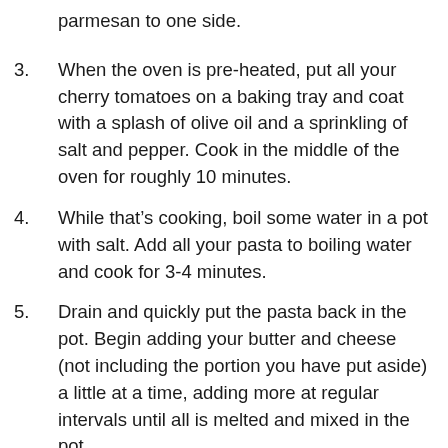parmesan to one side.
3. When the oven is pre-heated, put all your cherry tomatoes on a baking tray and coat with a splash of olive oil and a sprinkling of salt and pepper. Cook in the middle of the oven for roughly 10 minutes.
4. While that’s cooking, boil some water in a pot with salt. Add all your pasta to boiling water and cook for 3-4 minutes.
5. Drain and quickly put the pasta back in the pot. Begin adding your butter and cheese (not including the portion you have put aside) a little at a time, adding more at regular intervals until all is melted and mixed in the pot.
6. Serve in a bowl, add your remaining